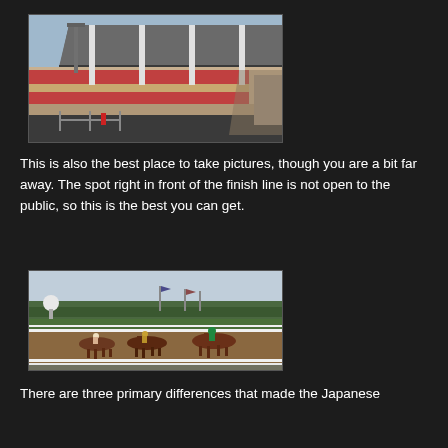[Figure (photo): Empty horse racing grandstand/stadium exterior with red and tan horizontal stripe facade, large canopy overhang, and light poles. Concrete surfaces visible in foreground.]
This is also the best place to take pictures, though you are a bit far away. The spot right in front of the finish line is not open to the public, so this is the best you can get.
[Figure (photo): Horses racing on a dirt track at a horse racing venue with jockeys, white rail fences, green hedges, trees and sky in background. Multiple horses in a race near the finish.]
There are three primary differences that made the Japanese